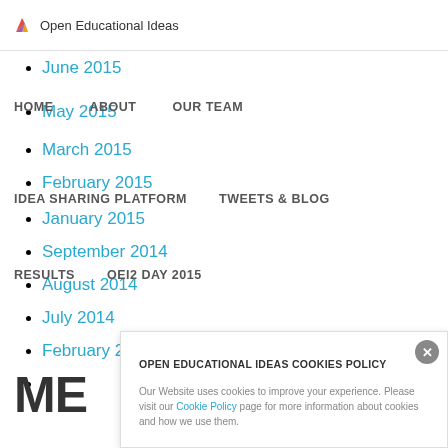Open Educational Ideas
June 2015
HOME   ABOUT   OUR TEAM
May 2015
IDEA SHARING PLATFORM   TWEETS & BLOG
March 2015
February 2015
RESULTS   OEI2 DAY 2015
January 2015
September 2014
August 2014
July 2014
February 2014
ME
OPEN EDUCATIONAL IDEAS COOKIES POLICY

Our Website uses cookies to improve your experience. Please visit our Cookie Policy page for more information about cookies and how we use them.